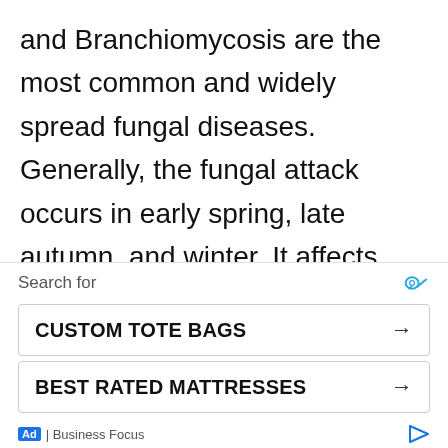and Branchiomycosis are the most common and widely spread fungal diseases. Generally, the fungal attack occurs in early spring, late autumn, and winter. It affects weak fish that have weak immune system due to prolonged low water temperatures and poor tank environment. The fungus can infect any wound due to improper handling with hands, nets, containers or sharp decorations. Fish may get injured battling each other, or they may have open injuries from bacterial or parasite contamination. These
[Figure (other): Advertisement overlay with search bar, two ad items (CUSTOM TOTE BAGS and BEST RATED MATTRESSES), and Business Focus footer]